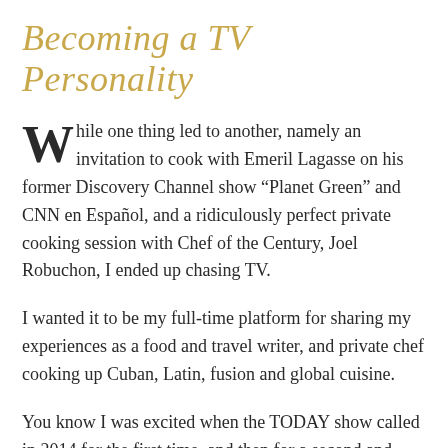Becoming a TV Personality
While one thing led to another, namely an invitation to cook with Emeril Lagasse on his former Discovery Channel show “Planet Green” and CNN en Español, and a ridiculously perfect private cooking session with Chef of the Century, Joel Robuchon, I ended up chasing TV.
I wanted it to be my full-time platform for sharing my experiences as a food and travel writer, and private chef cooking up Cuban, Latin, fusion and global cuisine.
You know I was excited when the TODAY show called in 2014 for the first time, and then for a second and third! Let’s talk about how much I still pinch myself every now